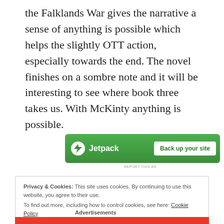the Falklands War gives the narrative a sense of anything is possible which helps the slightly OTT action, especially towards the end. The novel finishes on a sombre note and it will be interesting to see where book three takes us. With McKinty anything is possible.
[Figure (other): Jetpack advertisement banner with green background, lightning bolt logo, brand name 'Jetpack', and 'Back up your site' button]
REPORT THIS AD
Privacy & Cookies: This site uses cookies. By continuing to use this website, you agree to their use.
To find out more, including how to control cookies, see here: Cookie Policy
Close and accept
Advertisements